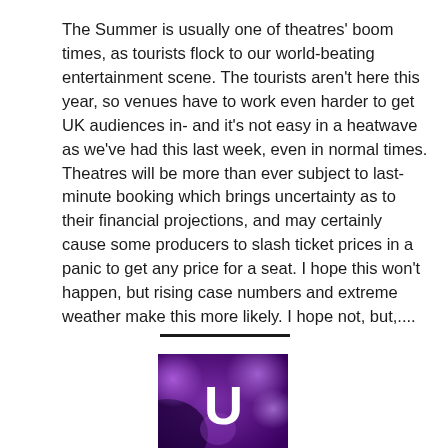The Summer is usually one of theatres' boom times, as tourists flock to our world-beating entertainment scene. The tourists aren't here this year, so venues have to work even harder to get UK audiences in- and it's not easy in a heatwave as we've had this last week, even in normal times. Theatres will be more than ever subject to last-minute booking which brings uncertainty as to their financial projections, and may certainly cause some producers to slash ticket prices in a panic to get any price for a seat. I hope this won't happen, but rising case numbers and extreme weather make this more likely. I hope not, but,....
[Figure (logo): Purple and violet bokeh background with a white letter U in the center, resembling a media/app logo.]